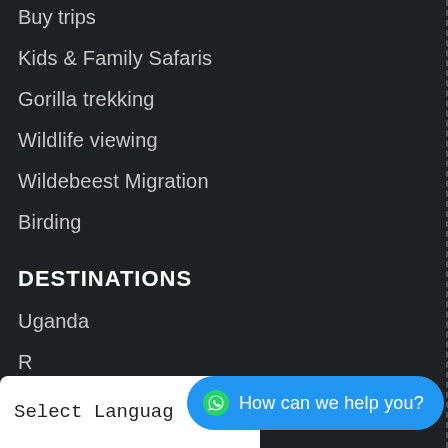Buy trips
Kids & Family Safaris
Gorilla trekking
Wildlife viewing
Wildebeest Migration
Birding
DESTINATIONS
Uganda
R...
Congo
Select Language
How can we help you?